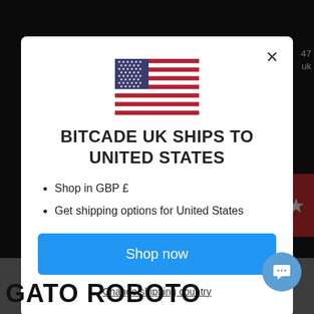[Figure (screenshot): Website modal dialog on a dark background. Shows a US flag, heading 'BITCADE UK SHIPS TO UNITED STATES', bullet points about GBP and shipping, a blue 'Shop now' button, and a 'Change shipping country' link. Background shows a dark webpage with a bottom gray section and a 'GATO ROBOTO' title.]
BITCADE UK SHIPS TO UNITED STATES
Shop in GBP £
Get shipping options for United States
Shop now
Change shipping country
GATO ROBOTO